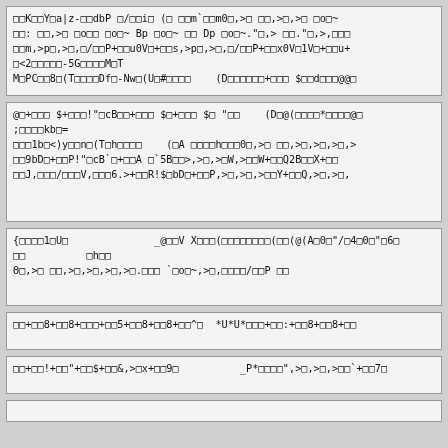□□K□□Y□a|z-□□dbP □/□□i□ (□ □□m`□□m0□,>□ □□,>□,>□ □o□~
□□: □□,>□ □o□□ □o□~ Bp □o□~ □□ Dp □o□~."□,> □□."□,>,□□□
□□m,>p□,>□,□/□□P+□□u0V□+□□s,>p□,>□,□/□□P+□□x0V□1V□+□□u+
□<2□□□□□-5G□□□□M□T
M□PC□□8□(T□□□□Df□-Nw□(U□#□□□□    (D□□□□□□+□□□ $□□d□□□@@□
@□+□□□ $+□□□!"□cB□□+□□□ $□+□□□ $□ "□□    (D□@(□□□□*□□□□@□
;□□□□kb□=
□□□1b□<)y□□n□(T□h□□□□    (□A □□□□h□□□0□,>□ □□,>□,>□,>□,>
□□9bD□+□□P!"□cB`□+□□A □`5B□□>,>□,>□W,>□□W+□□Q2B□□X+□□
□□J,□□□/□□□V,□□□6.>+□□R!$□bD□+□□P,>□,>□,>□□Y+□□Q,>□,>□,
{□□□□1□U□              _@□□V X□□□(□□□□□□□□(□□(@(A□0□"/□4□0□"□6□
□□          □h□□
Θ□,>□ □□,>□,>□,>□,>□.□□□ `□o□~,>□,□□□□/□□P □□
□□+□□8+□□8+□□□+□□5+□□8+□□8+□□^□  *U*U*□□□+□□:+□□8+□□8+□□
□□+□□!+□□"+□□$+□□&,>□x+□□9□          _P*□□□□",>□,>□,>□□`+□□7□